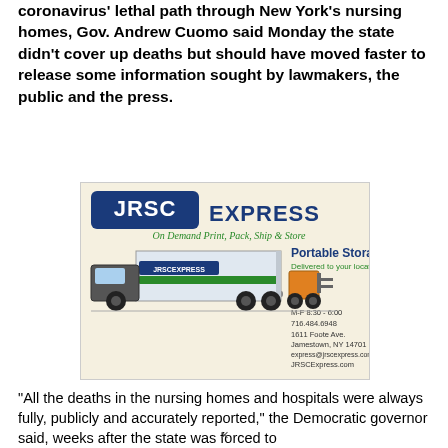coronavirus' lethal path through New York's nursing homes, Gov. Andrew Cuomo said Monday the state didn't cover up deaths but should have moved faster to release some information sought by lawmakers, the public and the press.
[Figure (illustration): Advertisement for JRSC Express — On Demand Print, Pack, Ship & Store. Shows a truck with a portable storage container. Text: Portable Storage, Delivered to your location, M-F 8:30 - 6:00, 716.484.6948, 1611 Foote Ave., Jamestown, NY 14701, express@jrscexpress.com, JRSCExpress.com]
“All the deaths in the nursing homes and hospitals were always fully, publicly and accurately reported,” the Democratic governor said, weeks after the state was forced to